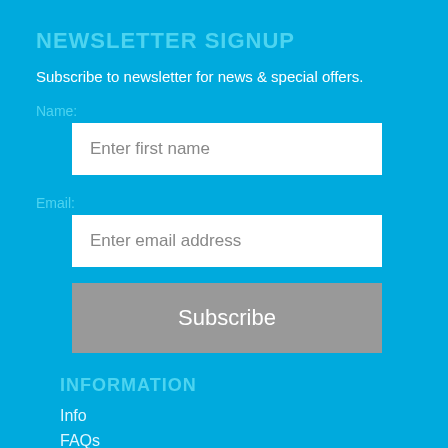NEWSLETTER SIGNUP
Subscribe to newsletter for news & special offers.
Name:
[Figure (screenshot): Text input field with placeholder 'Enter first name']
Email:
[Figure (screenshot): Text input field with placeholder 'Enter email address']
[Figure (screenshot): Gray subscribe button with text 'Subscribe']
INFORMATION
Info
FAQs
Kit List
Travel Info
Accommodation